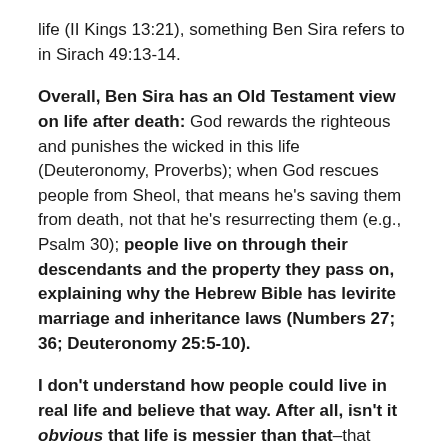life (II Kings 13:21), something Ben Sira refers to in Sirach 49:13-14.
Overall, Ben Sira has an Old Testament view on life after death: God rewards the righteous and punishes the wicked in this life (Deuteronomy, Proverbs); when God rescues people from Sheol, that means he's saving them from death, not that he's resurrecting them (e.g., Psalm 30); people live on through their descendants and the property they pass on, explaining why the Hebrew Bible has levirite marriage and inheritance laws (Numbers 27; 36; Deuteronomy 25:5-10).
I don't understand how people could live in real life and believe that way. After all, isn't it obvious that life is messier than that–that many righteous people suffer, while many wicked people prosper? Job eventually comes